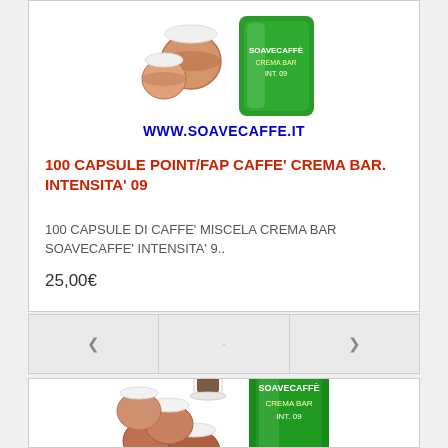[Figure (photo): Product photo showing coffee capsules and green foil package for Soavecaffe, with website URL WWW.SOAVECAFFE.IT]
100 CAPSULE POINT/FAP CAFFE' CREMA BAR. INTENSITA' 09
100 CAPSULE DI CAFFE' MISCELA CREMA BAR SOAVECAFFE' INTENSITA' 9..
25,00€
[Figure (photo): Product photo showing coffee capsules with espresso glass and green foil package for Soavecaffe]